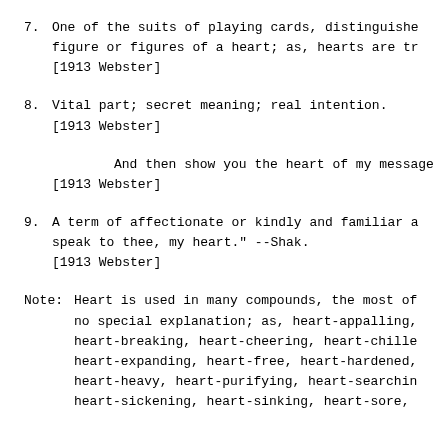7. One of the suits of playing cards, distinguished by a figure or figures of a heart; as, hearts are tr [1913 Webster]
8. Vital part; secret meaning; real intention. [1913 Webster]
And then show you the heart of my message [1913 Webster]
9. A term of affectionate or kindly and familiar a speak to thee, my heart." --Shak. [1913 Webster]
Note: Heart is used in many compounds, the most of no special explanation; as, heart-appalling, heart-breaking, heart-cheering, heart-chille heart-expanding, heart-free, heart-hardened, heart-heavy, heart-purifying, heart-searchin heart-sickening, heart-sinking, heart-sore,